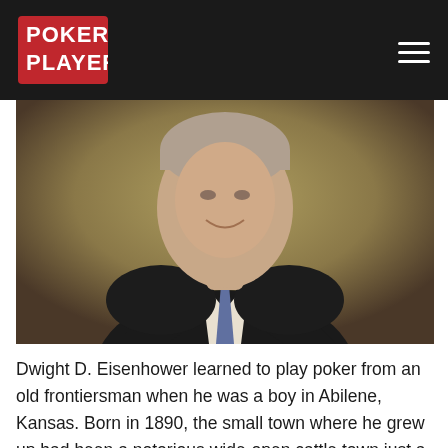POKER PLAYER
[Figure (photo): Portrait photo of Dwight D. Eisenhower in a dark suit and tie, smiling, against a golden-brown background]
Dwight D. Eisenhower learned to play poker from an old frontiersman when he was a boy in Abilene, Kansas. Born in 1890, the small town where he grew up had been a notorious wide-open cattle town just a generation earlier.
Young Ike befriended one old-timer who'd been a